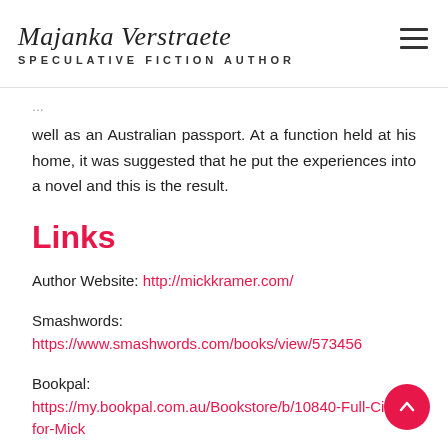Majanka Verstraete
SPECULATIVE FICTION AUTHOR
well as an Australian passport. At a function held at his home, it was suggested that he put the experiences into a novel and this is the result.
Links
Author Website: http://mickkramer.com/
Smashwords:
https://www.smashwords.com/books/view/573456
Bookpal:
https://my.bookpal.com.au/Bookstore/b/10840-Full-Circle-for-Mick